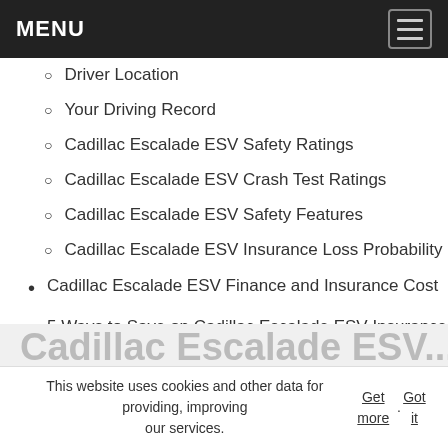MENU
Driver Location
Your Driving Record
Cadillac Escalade ESV Safety Ratings
Cadillac Escalade ESV Crash Test Ratings
Cadillac Escalade ESV Safety Features
Cadillac Escalade ESV Insurance Loss Probability
Cadillac Escalade ESV Finance and Insurance Cost
5 Ways to Save on Cadillac Escalade ESV Insurance
Top Cadillac Escalade ESV Insurance Companies
Compare Free Cadillac Escalade ESV Insurance Quotes Online
This website uses cookies and other data for providing, improving our services. Get more. Got it